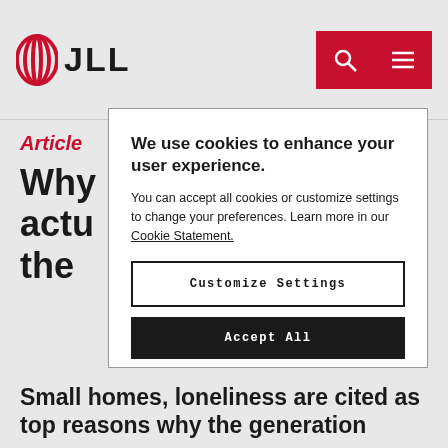JLL
Article
Why ... als actu ... in the ...
We use cookies to enhance your user experience.

You can accept all cookies or customize settings to change your preferences. Learn more in our Cookie Statement.
Customize Settings
Accept All
Small homes, loneliness are cited as top reasons why the generation